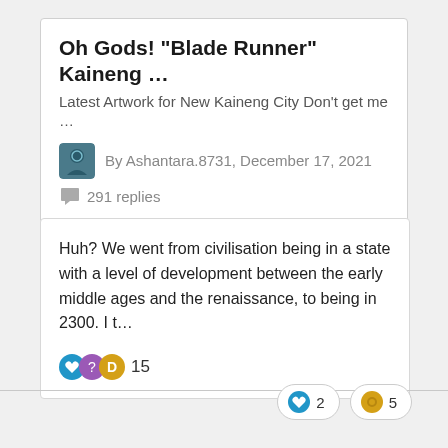Oh Gods! "Blade Runner" Kaineng …
Latest Artwork for New Kaineng City Don't get me …
By Ashantara.8731, December 17, 2021
291 replies
Huh? We went from civilisation being in a state with a level of development between the early middle ages and the renaissance, to being in 2300. I t…
15
2
5